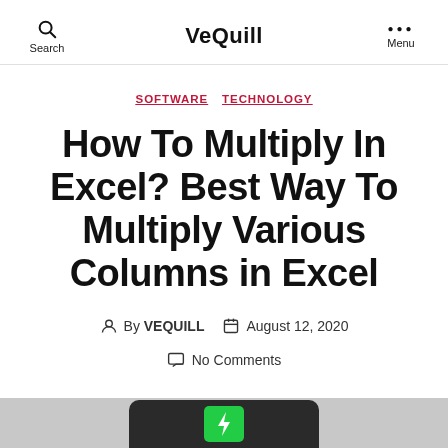Search | VeQuill | Menu
SOFTWARE  TECHNOLOGY
How To Multiply In Excel? Best Way To Multiply Various Columns in Excel
By VEQUILL  August 12, 2020  No Comments
[Figure (photo): Bottom portion of a mobile device or phone with a green lightning bolt charging icon visible]